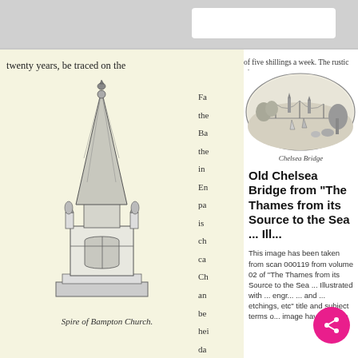[Figure (screenshot): Screenshot of a mobile browser/app showing a scanned book page with an illustration of the Spire of Bampton Church on a cream background, with partial book text visible, alongside a white panel showing an oval engraving of Old Chelsea Bridge and descriptive metadata text.]
twenty years, be traced on the
[Figure (illustration): Detailed pencil/engraving illustration of the Spire of Bampton Church, showing Gothic architectural details including a tall pointed spire with a weathervane, arched windows, and decorative statues at the corners of the tower base.]
Spire of Bampton Church.
[Figure (illustration): Oval engraving of Old Chelsea Bridge showing the Thames river with sailing boats, the bridge structure in the background, and trees/scenery on the banks. Caption reads: Chelsea Bridge.]
Chelsea Bridge
Old Chelsea Bridge from "The Thames from its Source to the Sea ... Ill...
This image has been taken from scan 000119 from volume 02 of "The Thames from its Source to the Sea ... Illustrated with ... engr... ... and ... etchings, etc" title and subject terms o... image have... More